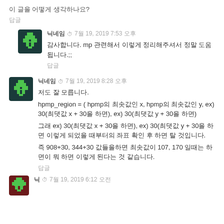이 글을 어떻게 생각하나요?
답글
닉네임  7월 19, 2019 7:53 오후
감사합니다. mp 관련해서 이렇게 정리해주셔서 정말 도움됩니다.;;
답글
닉네임  7월 19, 2019 8:28 오후
저도 잘 모릅니다.
hpmp_region = ( hpmp의 최솟값인 x, hpmp의 최솟값인 y, ex) 30(최댓값 x + 30을 하면), ex) 30(최댓값 y + 30을 하면)
그래 ex) 30(최댓값 x + 30을 하면), ex) 30(최댓값 y + 30을 하면 이렇게 되었 을 때부터의 좌표 확인 후 하면 탈 것입니다.
즉 908+30, 344+30 값들을하면 최솟값이 107, 170 일때는 하면이 뭐 하면 이렇게 된다는 것 같습니다.
답글
닉  7월 19, 2019 6:12 오전